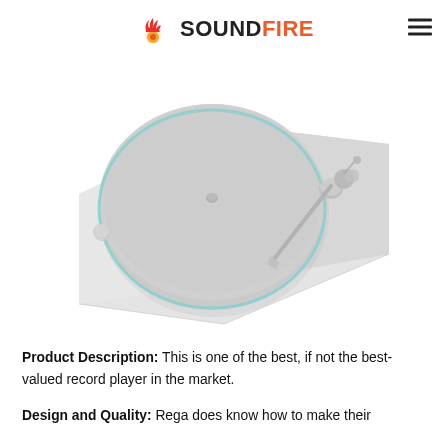SOUNDFIRE
[Figure (photo): A white/light gray Rega turntable (record player) with a circular platter featuring a subtle teal/cyan rim, a tonearm on the right side, and a flat rectangular plinth, photographed from a slightly elevated angle against a white background.]
Product Description: This is one of the best, if not the best-valued record player in the market.
Design and Quality: Rega does know how to make their